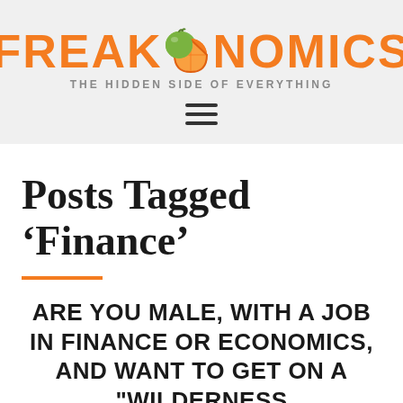[Figure (logo): Freakonomics logo with orange fruit replacing the letter O, tagline 'THE HIDDEN SIDE OF EVERYTHING', and hamburger menu icon below]
Posts Tagged ‘Finance’
ARE YOU MALE, WITH A JOB IN FINANCE OR ECONOMICS, AND WANT TO GET ON A "WILDERNESS